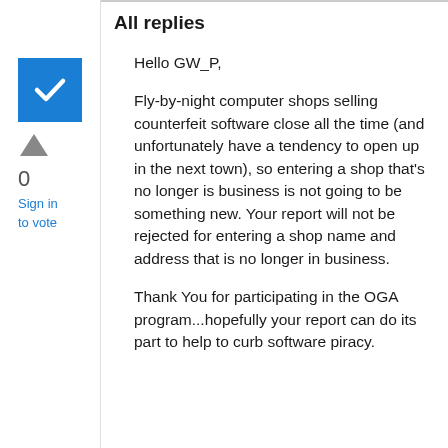All replies
[Figure (other): Blue checkbox icon with white checkmark, vote up arrow, count 0, and Sign in to vote link]
Hello GW_P,

Fly-by-night computer shops selling counterfeit software close all the time (and unfortunately have a tendency to open up in the next town), so entering a shop that's no longer is business is not going to be something new.  Your report will not be rejected for entering a shop name and address that is no longer in business.

Thank You for participating in the OGA program...hopefully your report can do its part to help to curb software piracy.